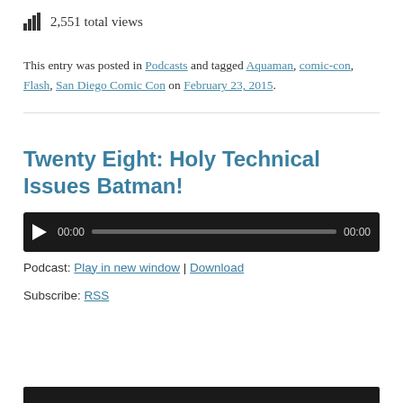2,551 total views
This entry was posted in Podcasts and tagged Aquaman, comic-con, Flash, San Diego Comic Con on February 23, 2015.
Twenty Eight: Holy Technical Issues Batman!
[Figure (other): Audio player with play button, time display 00:00, progress bar, and end time 00:00]
Podcast: Play in new window | Download
Subscribe: RSS